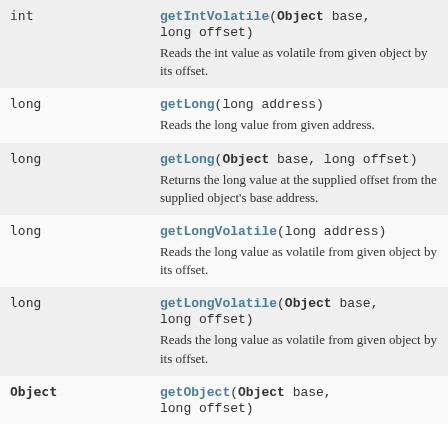| Type | Method and Description |
| --- | --- |
| int | getIntVolatile(Object base, long offset)
Reads the int value as volatile from given object by its offset. |
| long | getLong(long address)
Reads the long value from given address. |
| long | getLong(Object base, long offset)
Returns the long value at the supplied offset from the supplied object's base address. |
| long | getLongVolatile(long address)
Reads the long value as volatile from given object by its offset. |
| long | getLongVolatile(Object base, long offset)
Reads the long value as volatile from given object by its offset. |
| Object | getObject(Object base, long offset) |